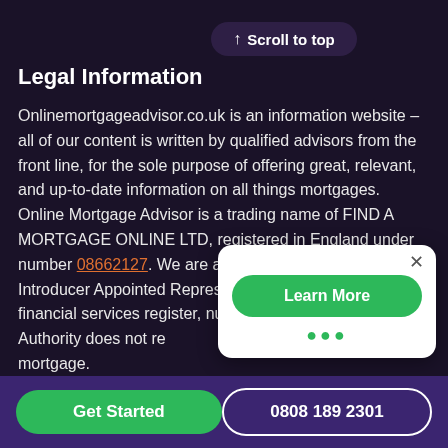[Figure (screenshot): Scroll to top button with upward arrow icon on dark purple background]
Legal Information
Onlinemortgageadvisor.co.uk is an information website – all of our content is written by qualified advisors from the front line, for the sole purpose of offering great, relevant, and up-to-date information on all things mortgages. Online Mortgage Advisor is a trading name of FIND A MORTGAGE ONLINE LTD, registered in England under number 08662127. We are an officially recognised Introducer Appointed Representative and on the FCA financial services register, number. The Financial Conduct Authority does not re forms of buy to let mortgage.
[Figure (screenshot): White popup card with close X button, green Learn More button, and three green dots]
[Figure (screenshot): Bottom bar with Get Started green button and 0808 189 2301 phone number in outlined button]